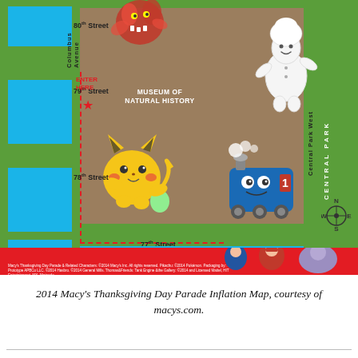[Figure (map): 2014 Macy's Thanksgiving Day Parade Inflation Map showing the area around the Museum of Natural History between 77th and 80th Streets, Columbus Avenue and Central Park West. Features blue blocks representing city blocks, a dashed red route path, balloon character images (Pokémon Pikachu, Thomas the Tank Engine, Pillsbury Doughboy, a monster character), compass rose, street labels, and a 'No public viewing south of 77th Street' banner.]
2014 Macy's Thanksgiving Day Parade Inflation Map, courtesy of macys.com.